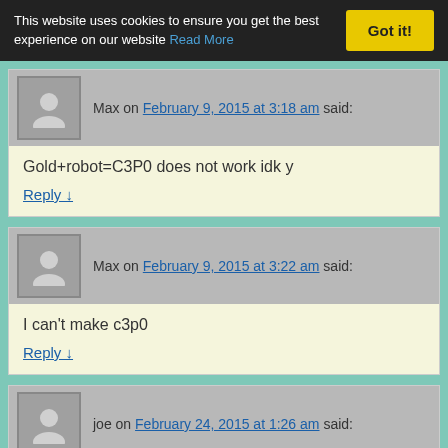This website uses cookies to ensure you get the best experience on our website Read More Got it!
Max on February 9, 2015 at 3:18 am said:
Gold+robot=C3P0 does not work idk y
Reply ↓
Max on February 9, 2015 at 3:22 am said:
I can't make c3p0
Reply ↓
joe on February 24, 2015 at 1:26 am said:
the Beatles are beetle and man
Reply ↓
joe on February 24, 2015 at 1:31 am said: